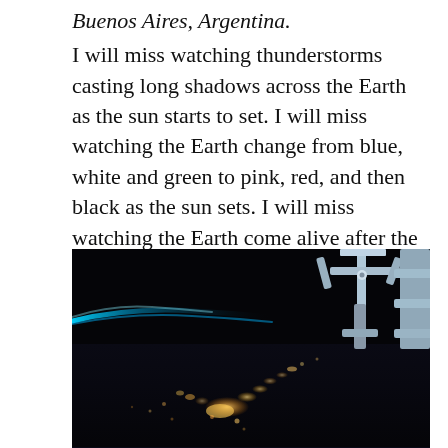Buenos Aires, Argentina. I will miss watching thunderstorms casting long shadows across the Earth as the sun starts to set. I will miss watching the Earth change from blue, white and green to pink, red, and then black as the sun sets. I will miss watching the Earth come alive after the sun has set and the cities and towns light up the planet.
[Figure (photo): A photograph taken from the International Space Station showing Earth at night from orbit. In the upper right, ISS robotic arm structure is visible in blue-grey tones against the black of space. Along the left edge, a thin blue atmospheric glow (limb) separates the dark Earth below from space above. The lower half of the image shows the curved dark surface of Earth with clusters of warm golden city lights scattered across it, depicting illuminated cities and towns as seen from space — likely South America including Buenos Aires area. The overall scene is very dark with black space dominating.]